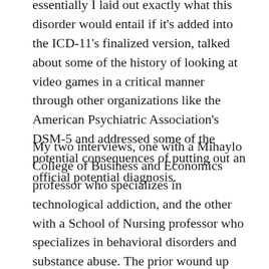essentially I laid out exactly what this disorder would entail if it's added into the ICD-11's finalized version, talked about some of the history of looking at video games in a critical manner through other organizations like the American Psychiatric Association's DSM-5 and addressed some of the potential consequences of putting out an official potential diagnosis.
My two interviews, one with a Mihaylo College of Business and Economics professor who specializes in technological addiction, and the other with a School of Nursing professor who specializes in behavioral disorders and substance abuse. The prior wound up taking the most space in the story because I had a long, involved interview with him, while the latter was a little bit more specialized in individual places because we had some issues scheduling our time to talk. Her interview was shorter as a result, but I definitely got some interesting information all the